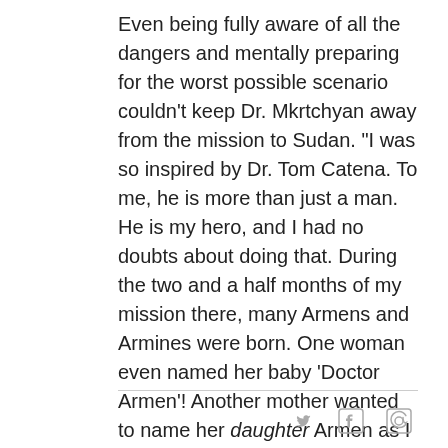Even being fully aware of all the dangers and mentally preparing for the worst possible scenario couldn't keep Dr. Mkrtchyan away from the mission to Sudan. "I was so inspired by Dr. Tom Catena. To me, he is more than just a man. He is my hero, and I had no doubts about doing that. During the two and a half months of my mission there, many Armens and Armines were born. One woman even named her baby 'Doctor Armen'! Another mother wanted to name her daughter Armen as I had literally brought her newborn back to life," said Armen Mkrtchyan.
[Figure (other): Social media share icons: Twitter bird, Facebook F, and email/at-sign, displayed in grey]